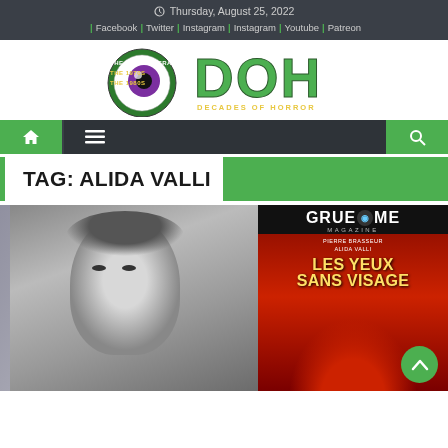Thursday, August 25, 2022 | Facebook | Twitter | Instagram | Instagram | Youtube | Patreon
[Figure (logo): Decades of Horror logo with eyeball and DOH text — The Classic Era, The 1970s, The 1980s]
[Figure (infographic): Navigation bar with home icon, menu icon, and search icon on dark background with green home and search buttons]
TAG: ALIDA VALLI
[Figure (photo): Black and white photo of a child alongside a Gruesome Magazine cover featuring Les Yeux Sans Visage with Pierre Brasseur and Alida Valli]